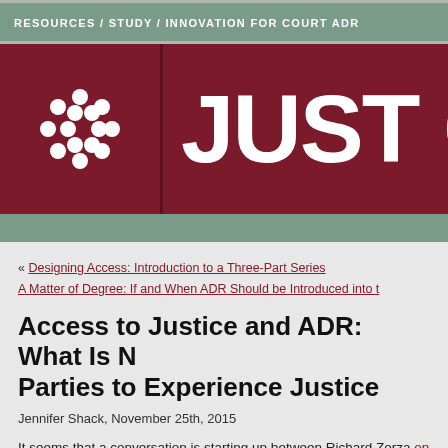RESOURCES / STUDY / INNOVATION FOR COURT ADR
[Figure (logo): Just Court ADR logo: dark red/maroon background with a circular dot pattern icon on the left and large white text 'JUST C' (partially cropped) on the right]
« Designing Access: Introduction to a Three-Part Series
A Matter of Degree: If and When ADR Should be Introduced into t[he]
Access to Justice and ADR: What Is N[eeded for] Parties to Experience Justice
Jennifer Shack, November 25th, 2015
It seems that a conversation is starting up between Richard Zorza on his [blog and] Foreclosure Mediation Hanna Kaufman about 100% access to justice an[d] with a series of three posts that will focus on how we are addressing acco[ess in] foreclosure mediation programs, so I decided to chime in with a big-pictu[re]